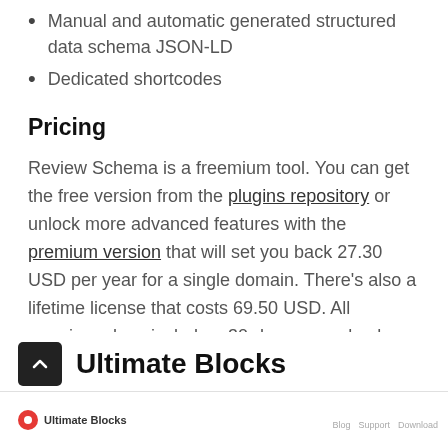Manual and automatic generated structured data schema JSON-LD
Dedicated shortcodes
Pricing
Review Schema is a freemium tool. You can get the free version from the plugins repository or unlock more advanced features with the premium version that will set you back 27.30 USD per year for a single domain. There's also a lifetime license that costs 69.50 USD. All premium plans include a 30-day money-back guarantee.
Ultimate Blocks
Ultimate Blocks   Blog  Support  Download